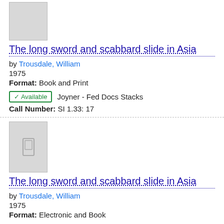[Figure (illustration): Gray placeholder thumbnail image for a book cover (top of page, no book icon)]
The long sword and scabbard slide in Asia
by Trousdale, William
1975
Format: Book and Print
✓ Available   Joyner - Fed Docs Stacks
Call Number: SI 1.33: 17
[Figure (illustration): Gray placeholder thumbnail image for a book cover with a small book icon in the center]
The long sword and scabbard slide in Asia
by Trousdale, William
1975
Format: Electronic and Book